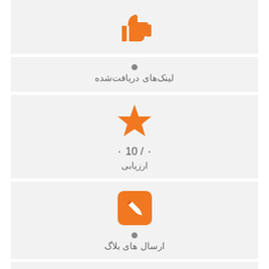[Figure (infographic): Partial top card with clipped Persian text and thumbs-up icon with orange color]
لینک‌های دریافت‌شده
[Figure (infographic): Star rating icon in orange, score 0/10, label ارزیابی]
ارزیابی
[Figure (infographic): Orange square with pencil/edit icon, count 0, label ارسال های بلاگ]
ارسال های بلاگ
[Figure (infographic): Partial bottom card with orange chat bubble icon, clipped]